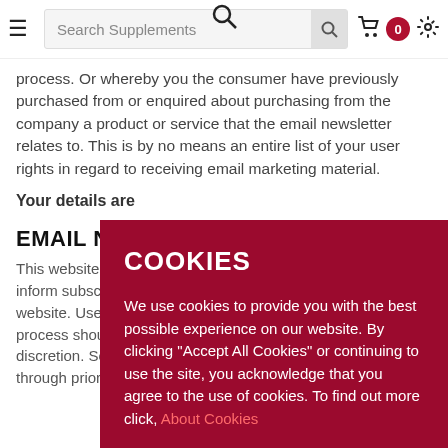Search Supplements
process. Or whereby you the consumer have previously purchased from or enquired about purchasing from the company a product or service that the email newsletter relates to. This is by no means an entire list of your user rights in regard to receiving email marketing material.
Your details are
EMAIL NEWS
This website ope inform subscrib website. Users d process should discretion. Som through prior written agreement with the user.
COOKIES
We use cookies to provide you with the best possible experience on our website. By clicking "Accept All Cookies" or continuing to use the site, you acknowledge that you agree to the use of cookies. To find out more click, About Cookies
ACCEPT ALL COOKIES